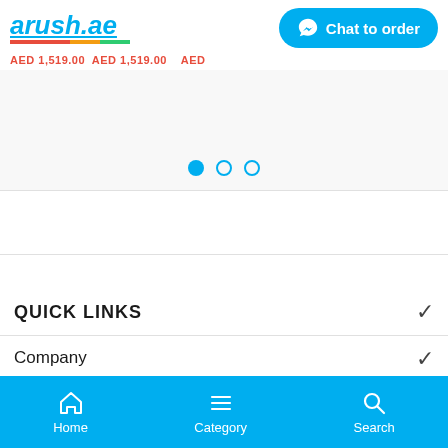[Figure (logo): arush.ae logo in blue italic bold text with colored underline]
[Figure (screenshot): Chat to order WhatsApp button in teal/blue rounded rectangle]
AED 1,519.00 AED 1,519.00 AED
[Figure (screenshot): Carousel slider area with three dots navigation (first dot filled, two empty)]
QUICK LINKS
Company